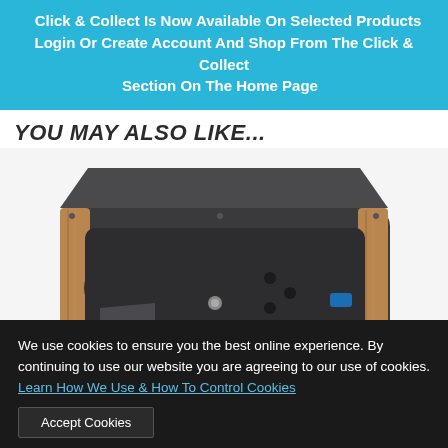Click & Collect Is Now Available On Selected Products Login Or Create Account And Shop From The Click & Collect Section On The Home Page
YOU MAY ALSO LIKE...
[Figure (photo): A dark gray/charcoal hot tub spa with wooden side panels, viewed from above at an angle, showing the interior basin with jets and a step platform.]
We use cookies to ensure you the best online experience. By continuing to use our website you are agreeing to our use of cookies. Learn How We Use & How To Control Cookies
Accept Cookies